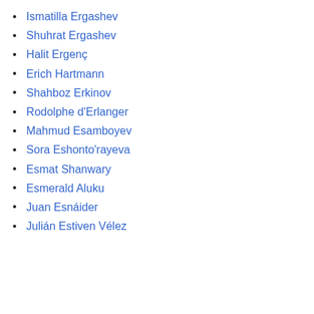Ismatilla Ergashev
Shuhrat Ergashev
Halit Ergenç
Erich Hartmann
Shahboz Erkinov
Rodolphe d'Erlanger
Mahmud Esamboyev
Sora Eshonto'rayeva
Esmat Shanwary
Esmerald Aluku
Juan Esnáider
Julián Estiven Vélez